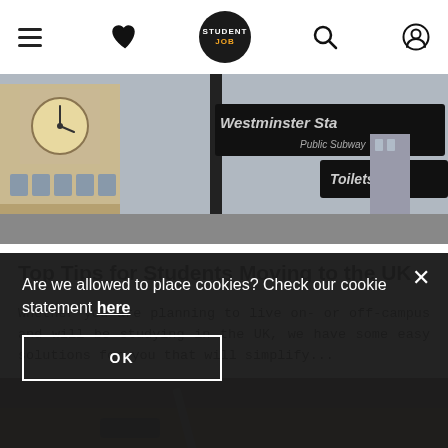StudentJob navigation bar with hamburger menu, heart/favorites icon, StudentJob logo, search icon, and account icon
[Figure (photo): Photo of Westminster area in London showing Big Ben tower and a street sign reading 'Westminster Station Public Subway / Toilets' against a grey sky]
Top Tips for Students Moving to the UK
Whether you are planning to live on- or off-campus and will be studying in the UK, we have some easy solutions for you that will simplify...
[Figure (photo): Partial photo showing a person writing or using a device on a wooden surface, partially obscured by cookie banner]
Are we allowed to place cookies? Check our cookie statement here
OK